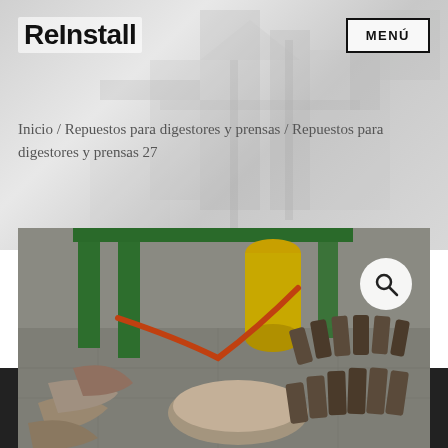ReInstall
MENÚ
Inicio / Repuestos para digestores y prensas / Repuestos para digestores y prensas 27
[Figure (photo): Industrial spare parts for digesters and presses laid out on a concrete floor, with green metal frame structures and a yellow cylinder in the background. The parts appear to be curved metal blades or press components.]